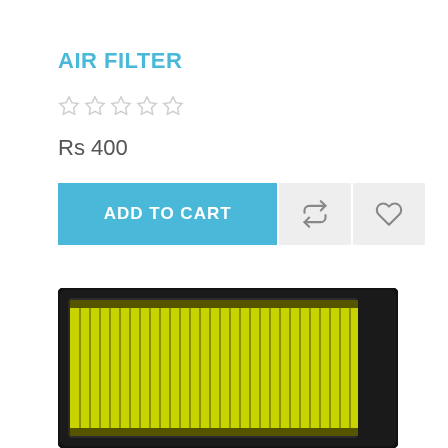AIR FILTER
☆☆☆☆☆ (5 empty stars rating)
Rs 400
[Figure (screenshot): E-commerce product page UI showing ADD TO CART button in cyan/blue, a compare/refresh icon button, and a heart/wishlist icon button, all on a grey background]
[Figure (photo): Photograph of a yellow-green pleated automotive air filter with black plastic frame, viewed from above]